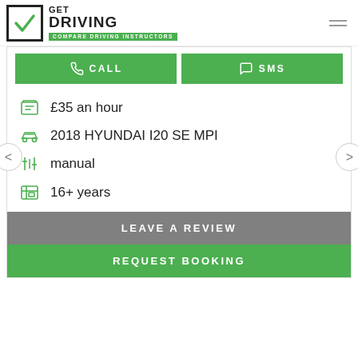GET DRIVING — COMPARE DRIVING INSTRUCTORS
CALL
SMS
£35 an hour
2018 HYUNDAI I20 SE MPI
manual
16+ years
LEAVE A REVIEW
REQUEST BOOKING